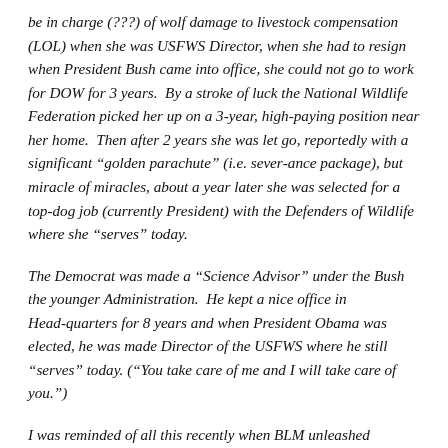be in charge (???) of wolf damage to livestock compensation (LOL) when she was USFWS Director, when she had to resign when President Bush came into office, she could not go to work for DOW for 3 years.  By a stroke of luck the National Wildlife Federation picked her up on a 3-year, high-paying position near her home.  Then after 2 years she was let go, reportedly with a significant “golden parachute” (i.e. severance package), but miracle of miracles, about a year later she was selected for a top-dog job (currently President) with the Defenders of Wildlife where she “serves” today.
The Democrat was made a “Science Advisor” under the Bush the younger Administration.  He kept a nice office in Headquarters for 8 years and when President Obama was elected, he was made Director of the USFWS where he still “serves” today. (“You take care of me and I will take care of you.”)
I was reminded of all this recently when BLM unleashed